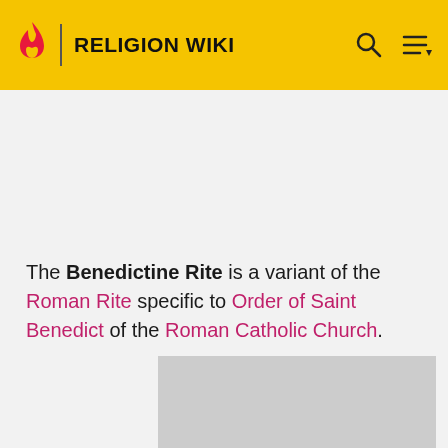RELIGION WIKI
The Benedictine Rite is a variant of the Roman Rite specific to Order of Saint Benedict of the Roman Catholic Church.
[Figure (photo): Gray placeholder image / article image area]